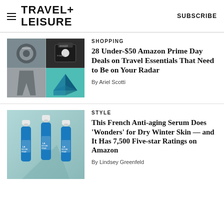TRAVEL+ LEISURE | SUBSCRIBE
[Figure (photo): Grid of four travel product images: a round Bluetooth tracker, a portable charger/device, grey leggings, and a teal geometric bag/headphones]
SHOPPING
28 Under-$50 Amazon Prime Day Deals on Travel Essentials That Need to Be on Your Radar
By Ariel Scotti
[Figure (photo): Three blue La Roche-Posay serum dropper bottles on a light teal/grey background]
STYLE
This French Anti-aging Serum Does 'Wonders' for Dry Winter Skin — and It Has 7,500 Five-star Ratings on Amazon
By Lindsey Greenfeld